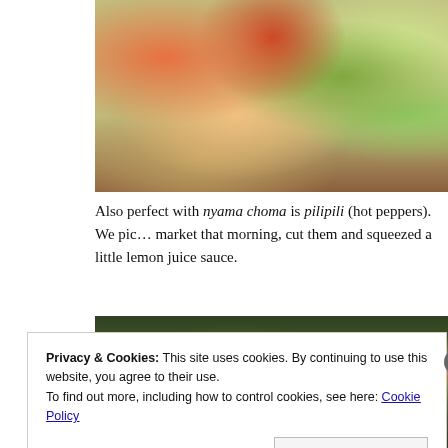[Figure (photo): Close-up photo of a salad bowl with fresh vegetables including tomatoes, cucumbers, and carrots on a wooden surface]
Also perfect with nyama choma is pilipili (hot peppers). We picked them up from the market that morning, cut them and squeezed a little lemon juice sauce.
[Figure (photo): Partial view of food dish, mostly obscured by cookie consent banner]
Privacy & Cookies: This site uses cookies. By continuing to use this website, you agree to their use.
To find out more, including how to control cookies, see here: Cookie Policy
Close and accept